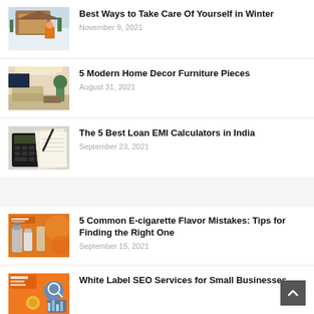[Figure (photo): Person in orange jacket standing in snow near a wooden cabin]
Best Ways to Take Care Of Yourself in Winter
November 9, 2021
[Figure (photo): Modern living room with furniture and warm lighting]
5 Modern Home Decor Furniture Pieces
August 31, 2021
[Figure (photo): Calculator and documents on a desk]
The 5 Best Loan EMI Calculators in India
September 23, 2021
[Figure (photo): Orange banner with e-cigarette product]
5 Common E-cigarette Flavor Mistakes: Tips for Finding the Right One
September 15, 2021
[Figure (photo): Orange and blue illustration for White Label SEO]
White Label SEO Services for Small Businesses